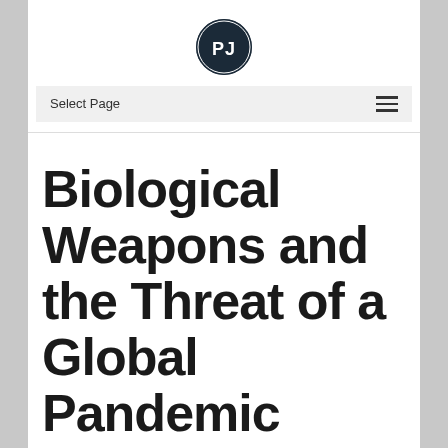[Figure (logo): PJ logo — circle with dark navy background containing white letters PJ]
Select Page
Biological Weapons and the Threat of a Global Pandemic